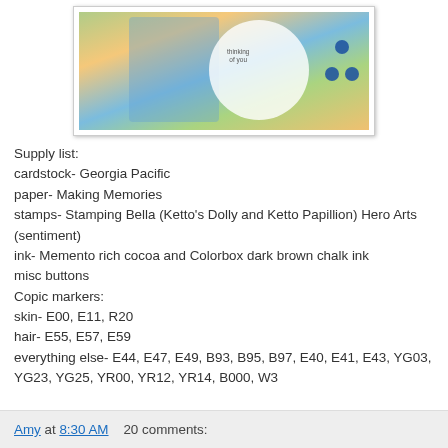[Figure (photo): Handmade greeting card with 'thinking of you' sentiment, featuring a girl illustration, butterfly, and blue buttons on orange patterned paper]
Supply list:
cardstock- Georgia Pacific
paper- Making Memories
stamps- Stamping Bella (Ketto's Dolly and Ketto Papillion) Hero Arts (sentiment)
ink- Memento rich cocoa and Colorbox dark brown chalk ink
misc buttons
Copic markers:
skin- E00, E11, R20
hair- E55, E57, E59
everything else- E44, E47, E49, B93, B95, B97, E40, E41, E43, YG03, YG23, YG25, YR00, YR12, YR14, B000, W3
Amy at 8:30 AM    20 comments: